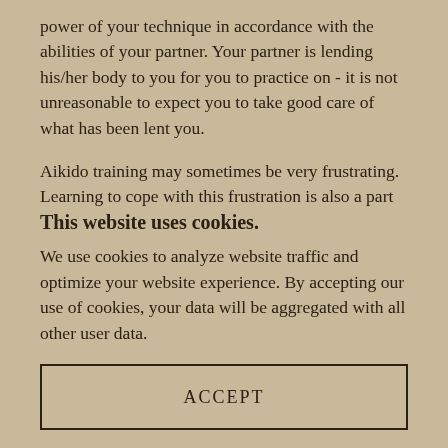power of your technique in accordance with the abilities of your partner. Your partner is lending his/her body to you for you to practice on - it is not unreasonable to expect you to take good care of what has been lent you.
Aikido training may sometimes be very frustrating. Learning to cope with this frustration is also a part of aikido training. Practitioners need to observe themselves
This website uses cookies.
We use cookies to analyze website traffic and optimize your website experience. By accepting our use of cookies, your data will be aggregated with all other user data.
ACCEPT